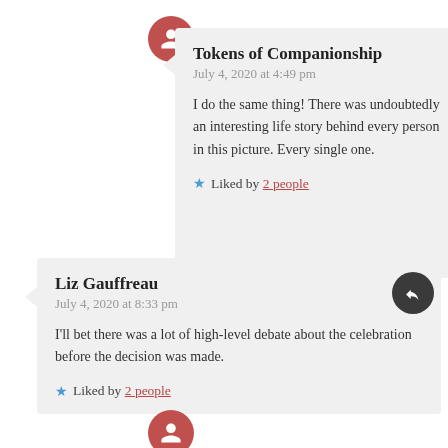Tokens of Companionship
July 4, 2020 at 4:49 pm
I do the same thing! There was undoubtedly an interesting life story behind every person in this picture. Every single one.
Liked by 2 people
Liz Gauffreau
July 4, 2020 at 8:33 pm
I'll bet there was a lot of high-level debate about the celebration before the decision was made.
Liked by 2 people